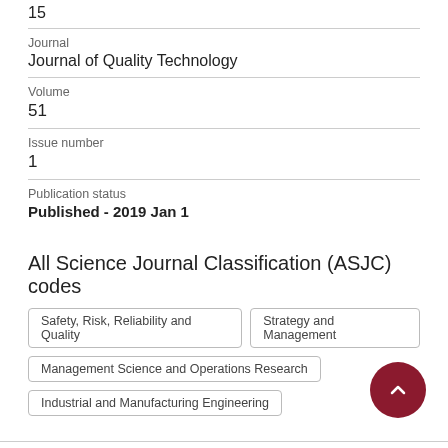15
Journal
Journal of Quality Technology
Volume
51
Issue number
1
Publication status
Published - 2019 Jan 1
All Science Journal Classification (ASJC) codes
Safety, Risk, Reliability and Quality
Strategy and Management
Management Science and Operations Research
Industrial and Manufacturing Engineering